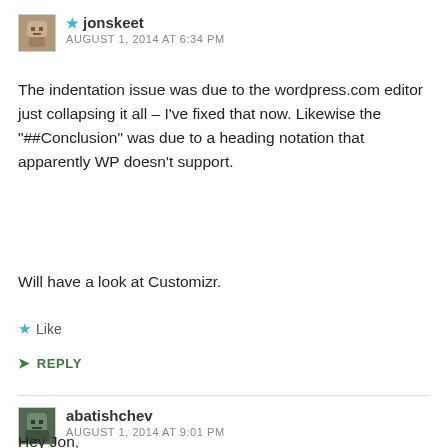★ jonskeet
AUGUST 1, 2014 AT 6:34 PM
The indentation issue was due to the wordpress.com editor just collapsing it all – I've fixed that now. Likewise the "##Conclusion" was due to a heading notation that apparently WP doesn't support.

Will have a look at Customizr.
★ Like
↳ REPLY
abatishchev
AUGUST 1, 2014 AT 9:01 PM
Hey Jon,